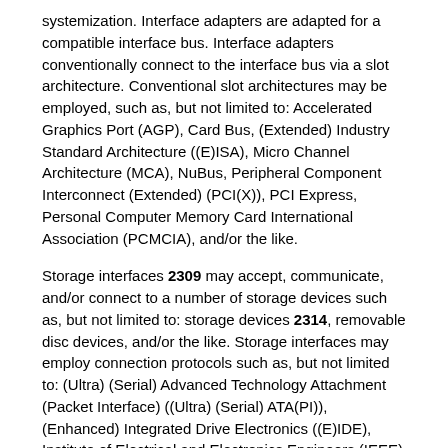systemization. Interface adapters are adapted for a compatible interface bus. Interface adapters conventionally connect to the interface bus via a slot architecture. Conventional slot architectures may be employed, such as, but not limited to: Accelerated Graphics Port (AGP), Card Bus, (Extended) Industry Standard Architecture ((E)ISA), Micro Channel Architecture (MCA), NuBus, Peripheral Component Interconnect (Extended) (PCI(X)), PCI Express, Personal Computer Memory Card International Association (PCMCIA), and/or the like.
Storage interfaces 2309 may accept, communicate, and/or connect to a number of storage devices such as, but not limited to: storage devices 2314, removable disc devices, and/or the like. Storage interfaces may employ connection protocols such as, but not limited to: (Ultra) (Serial) Advanced Technology Attachment (Packet Interface) ((Ultra) (Serial) ATA(PI)), (Enhanced) Integrated Drive Electronics ((E)IDE), Institute of Electrical and Electronics Engineers (IEEE) 1394, fiber channel, Small Computer Systems Interface (SCSI), Universal Serial Bus (USB), and/or the like.